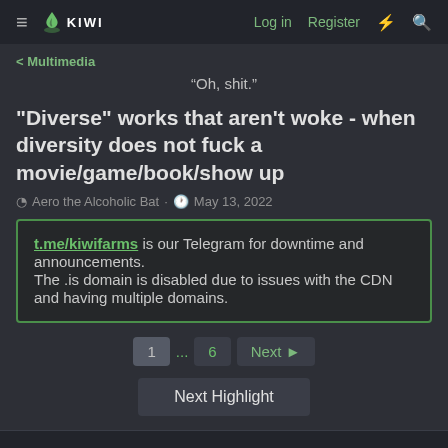≡  KIWI  Log in  Register  ⚡  🔍
< Multimedia
“Oh, shit.”
"Diverse" works that aren't woke - when diversity does not fuck a movie/game/book/show up
Aero the Alcoholic Bat · May 13, 2022
t.me/kiwifarms is our Telegram for downtime and announcements.
The .is domain is disabled due to issues with the CDN and having multiple domains.
1  ...  6  Next ▶
Next Highlight